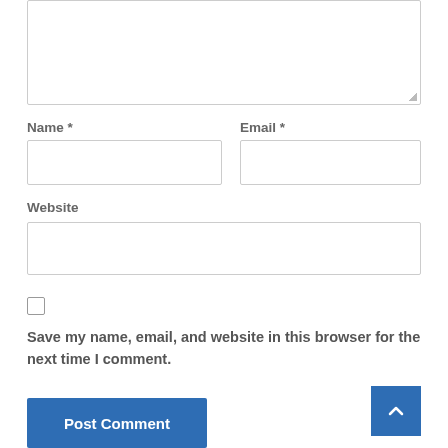[Figure (screenshot): Comment form textarea (top portion visible), partially cropped]
Name *
[Figure (screenshot): Name input field (empty text box)]
Email *
[Figure (screenshot): Email input field (empty text box)]
Website
[Figure (screenshot): Website input field (empty text box)]
[Figure (screenshot): Checkbox (unchecked)]
Save my name, email, and website in this browser for the next time I comment.
[Figure (screenshot): Post Comment button (blue) and scroll-to-top arrow button (blue, bottom right)]